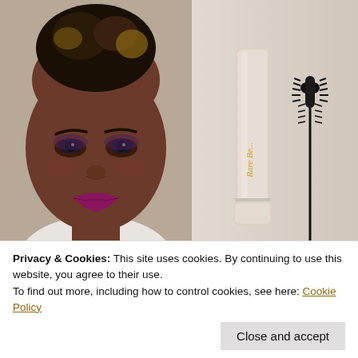[Figure (photo): A woman with dark skin wearing bold magenta/purple lipstick and eye makeup, looking upward, with her hair styled up. She is wearing a white top. This is a beauty/makeup review photo showing mascara results.]
[Figure (photo): Rare Beauty mascara product — a beige/nude colored tube with cap separated, and the mascara wand with bristled brush applicator shown next to it. The tube has 'Rare Be...' text in gold italic script.]
Privacy & Cookies: This site uses cookies. By continuing to use this website, you agree to their use.
To find out more, including how to control cookies, see here: Cookie Policy
Close and accept